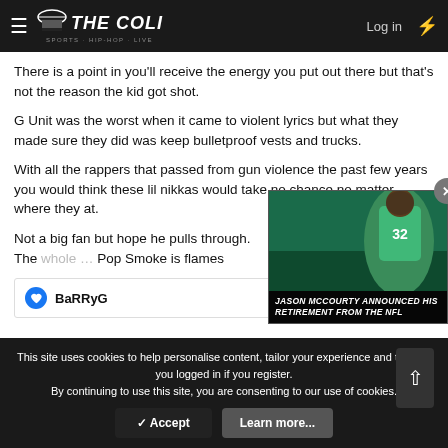THE COLI — Log in
There is a point in you'll receive the energy you put out there but that's not the reason the kid got shot.
G Unit was the worst when it came to violent lyrics but what they made sure they did was keep bulletproof vests and trucks.
With all the rappers that passed from gun violence the past few years you would think these lil nikkas would take no chance no matter where they at.
Not a big fan but hope he pulls through. The whole … Pop Smoke is flames
[Figure (photo): Jason McCourty in teal NFL jersey, advertisement overlay with text: JASON MCCOURTY ANNOUNCED HIS RETIREMENT FROM THE NFL]
BaRRyG
This site uses cookies to help personalise content, tailor your experience and to keep you logged in if you register.
By continuing to use this site, you are consenting to our use of cookies.